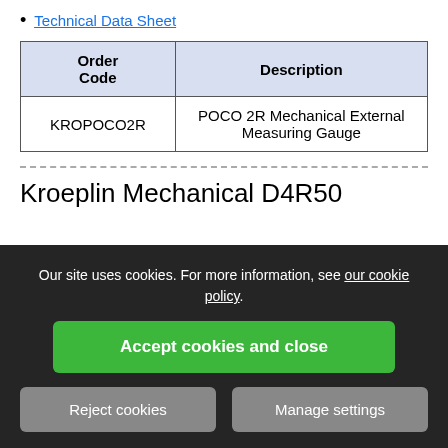Technical Data Sheet
| Order Code | Description |
| --- | --- |
| KROPOCO2R | POCO 2R Mechanical External Measuring Gauge |
Kroeplin Mechanical D4R50
Our site uses cookies. For more information, see our cookie policy.